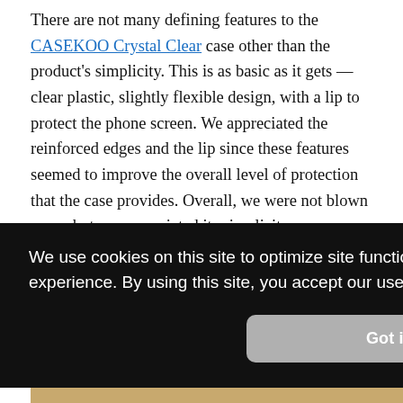There are not many defining features to the CASEKOO Crystal Clear case other than the product's simplicity. This is as basic as it gets — clear plastic, slightly flexible design, with a lip to protect the phone screen. We appreciated the reinforced edges and the lip since these features seemed to improve the overall level of protection that the case provides. Overall, we were not blown away, but we appreciated its simplicity.
For some, its simplicity may be appealing, but others may be ... duct. ... s case
[Figure (screenshot): Cookie consent overlay on dark black background reading: 'We use cookies on this site to optimize site functionality and give you the best possible experience. By using this site, you accept our use of cookies. Learn more' with a 'Got it!' button below. Below the overlay is a partial photo showing a wooden surface.]